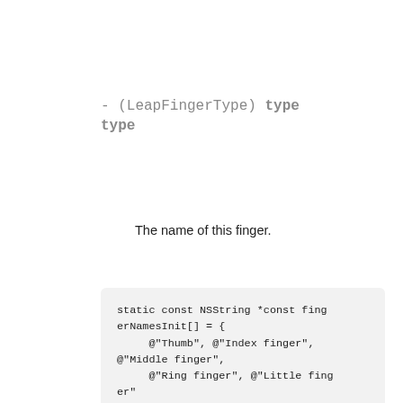- (LeapFingerType) type
type
The name of this finger.
static const NSString *const fingerNamesInit[] = {
    @"Thumb", @"Index finger", @"Middle finger",
    @"Ring finger", @"Little finger"
};
NSArray *fingerNames = [[NSArray alloc] initWithObjects:fingerNamesInit count:5];

for (LeapFinger *finger in hand.fingers) {
    NSLog(@"Finger is: %@,",[fing